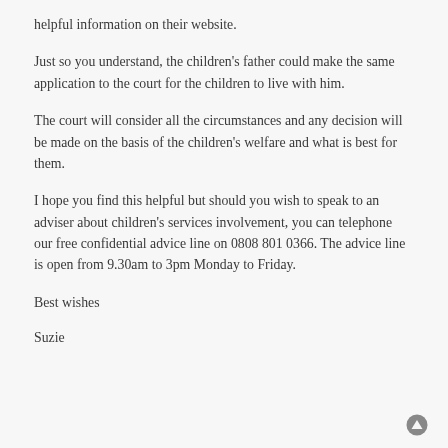helpful information on their website.
Just so you understand, the children’s father could make the same application to the court for the children to live with him.
The court will consider all the circumstances and any decision will be made on the basis of the children’s welfare and what is best for them.
I hope you find this helpful but should you wish to speak to an adviser about children’s services involvement, you can telephone our free confidential advice line on 0808 801 0366. The advice line is open from 9.30am to 3pm Monday to Friday.
Best wishes
Suzie